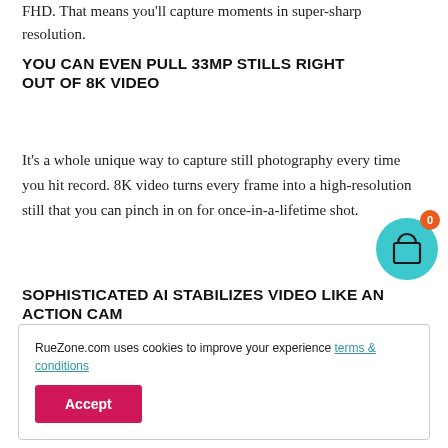FHD. That means you'll capture moments in super-sharp resolution.
YOU CAN EVEN PULL 33MP STILLS RIGHT OUT OF 8K VIDEO
It's a whole unique way to capture still photography every time you hit record. 8K video turns every frame into a high-resolution still that you can pinch in on for once-in-a-lifetime shot.
SOPHISTICATED AI STABILIZES VIDEO LIKE AN ACTION CAM
RueZone.com uses cookies to improve your experience terms & conditions
Accept